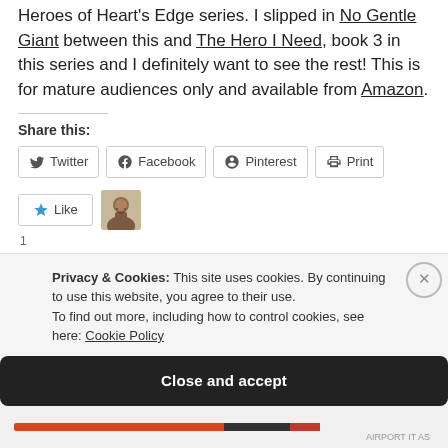Heroes of Heart's Edge series. I slipped in No Gentle Giant between this and The Hero I Need, book 3 in this series and I definitely want to see the rest! This is for mature audiences only and available from Amazon.
Share this:
Twitter
Facebook
Pinterest
Print
Like
Privacy & Cookies: This site uses cookies. By continuing to use this website, you agree to their use.
To find out more, including how to control cookies, see here: Cookie Policy
Close and accept